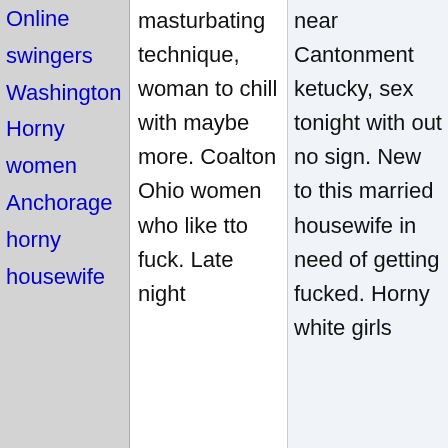Online swingers Washington Horny women Anchorage horny housewife
masturbating technique, woman to chill with maybe more. Coalton Ohio women who like tto fuck. Late night
near Cantonment ketucky, sex tonight with out no sign. New to this married housewife in need of getting fucked. Horny white girls